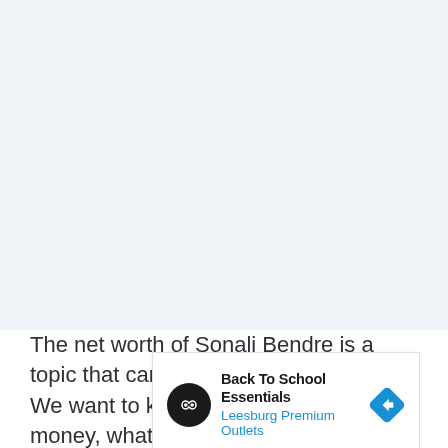[Figure (other): Light blue/grey blank area occupying the top portion of the page, likely an advertisement or image placeholder]
The net worth of Sonali Bendre is a topic that can be discussed to no end. We want to know how she got her money, what she spends it on, and where all this wealth comes from? Why are some famous
[Figure (other): Advertisement banner for 'Back To School Essentials - Leesburg Premium Outlets' with a black circular logo with infinity symbol, blue navigation arrow diamond icon, and play/close controls]